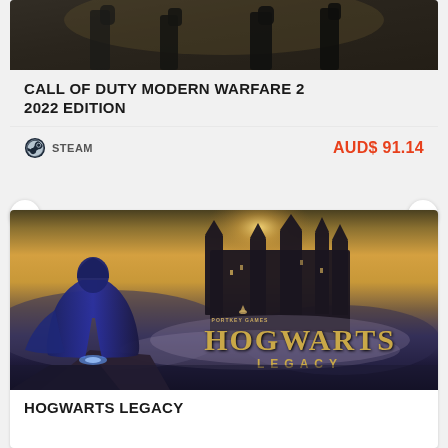[Figure (screenshot): Call of Duty Modern Warfare 2 game cover image - dark military themed screenshot at the top of the first card]
CALL OF DUTY MODERN WARFARE 2 2022 EDITION
STEAM   AUD$ 91.14
[Figure (photo): Hogwarts Legacy game cover art showing a cloaked figure standing on a cliff facing Hogwarts castle in a dramatic misty golden sky, with the Hogwarts Legacy logo overlaid]
HOGWARTS LEGACY